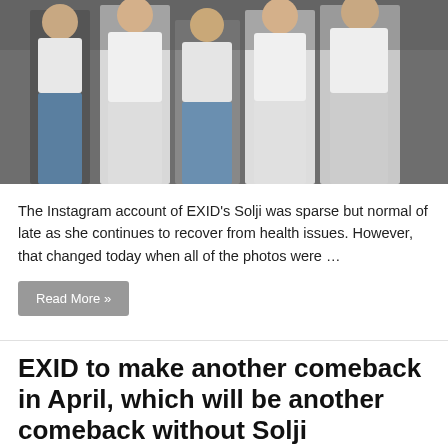[Figure (photo): Photo of EXID members in white outfits standing together]
The Instagram account of EXID’s Solji was sparse but normal of late as she continues to recover from health issues. However, that changed today when all of the photos were …
Read More »
EXID to make another comeback in April, which will be another comeback without Solji
IATFB   03/12/2018   K-Entertainment   32 Comments
[Figure (photo): Photo of EXID members performing on stage with lights]